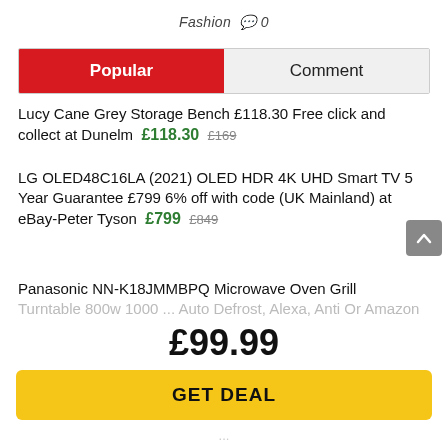Fashion  0
Popular | Comment
Lucy Cane Grey Storage Bench £118.30 Free click and collect at Dunelm  £118.30  £169
LG OLED48C16LA (2021) OLED HDR 4K UHD Smart TV 5 Year Guarantee £799 6% off with code (UK Mainland) at eBay-Peter Tyson  £799  £849
Panasonic NN-K18JMMBPQ Microwave Oven Grill Turntable 800w 1000 ... Auto Defrost, Alexa, Anti Or Amazon
£99.99
GET DEAL
...